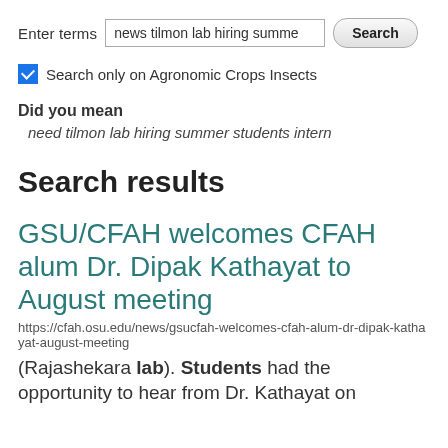Enter terms  [news tilmon lab hiring summe...]  Search
Search only on Agronomic Crops Insects
Did you mean
need tilmon lab hiring summer students intern
Search results
GSU/CFAH welcomes CFAH alum Dr. Dipak Kathayat to August meeting
https://cfah.osu.edu/news/gsucfah-welcomes-cfah-alum-dr-dipak-kathayat-august-meeting
(Rajashekara lab). Students had the opportunity to hear from Dr. Kathayat on